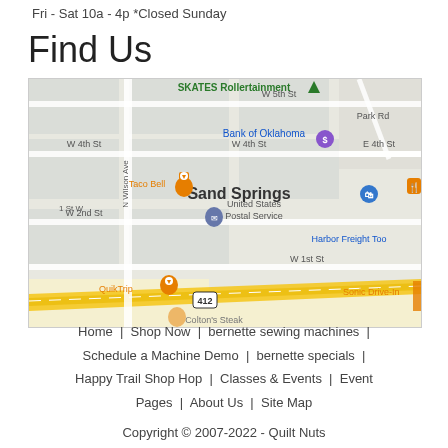Fri - Sat 10a - 4p *Closed Sunday
Find Us
[Figure (map): Google Maps screenshot showing Sand Springs, Oklahoma area with streets including W 5th St, W 4th St, W 2nd St, W 1st St, N Wilson Ave, Park Rd, E 4th St. Landmarks shown include SKATES Rollertainment, Bank of Oklahoma, Taco Bell, United States Postal Service, Harbor Freight Tools, QuikTrip, Sonic Drive-In, and Colten's Steak. Highway 412 runs diagonally through the lower portion of the map.]
Home | Shop Now | bernette sewing machines | Schedule a Machine Demo | bernette specials | Happy Trail Shop Hop | Classes & Events | Event Pages | About Us | Site Map
Copyright © 2007-2022 - Quilt Nuts